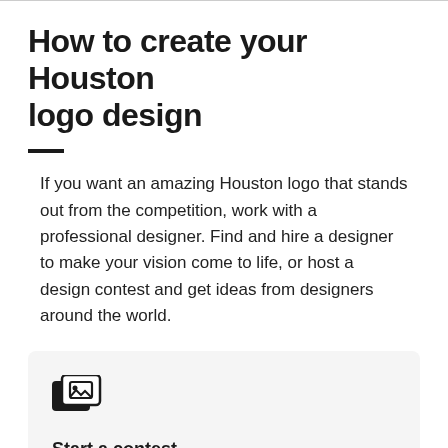How to create your Houston logo design
If you want an amazing Houston logo that stands out from the competition, work with a professional designer. Find and hire a designer to make your vision come to life, or host a design contest and get ideas from designers around the world.
Start a contest
Designers from around the